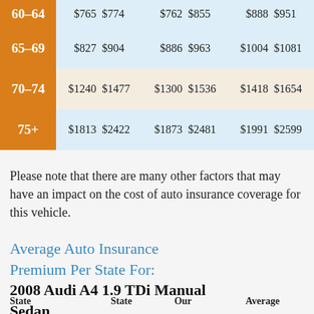| Age | Col1a | Col1b | Col2a | Col2b | Col3a | Col3b |
| --- | --- | --- | --- | --- | --- | --- |
| 60-64 | $765 | $774 | $762 | $855 | $888 | $951 |
| 65-69 | $827 | $904 | $886 | $963 | $1004 | $1081 |
| 70-74 | $1240 | $1477 | $1300 | $1536 | $1418 | $1654 |
| 75+ | $1813 | $2422 | $1873 | $2481 | $1991 | $2599 |
Please note that there are many other factors that may have an impact on the cost of auto insurance coverage for this vehicle.
Average Auto Insurance Premium Per State For: 2008 Audi A4 1.9 TDi Manual Sedan
| State | State | Our | Average |
| --- | --- | --- | --- |